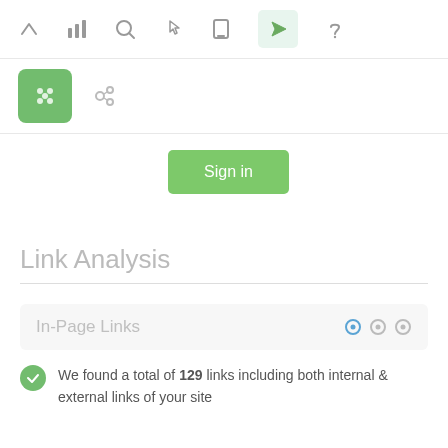[Figure (screenshot): Toolbar with icons: up arrow, bar chart, search, pointer, mobile, navigation (active/highlighted in green), thumbs up]
[Figure (screenshot): Second toolbar row with green icon button (paw/settings icon) and chain link icon]
[Figure (screenshot): Sign in green button]
Link Analysis
[Figure (screenshot): In-Page Links panel header with gear icons]
We found a total of 129 links including both internal & external links of your site